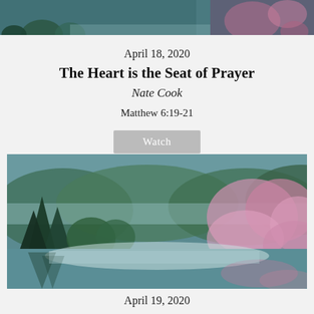[Figure (photo): Partial scenic nature photo at top — misty lake with pink cherry blossoms and dark evergreen trees, cropped strip at top of page]
April 18, 2020
The Heart is the Seat of Prayer
Nate Cook
Matthew 6:19-21
Watch
[Figure (photo): Scenic nature photo: misty lake surrounded by lush green forest with pink cherry blossom trees on the right side, reflections visible in the still water, fog over the water surface]
April 19, 2020